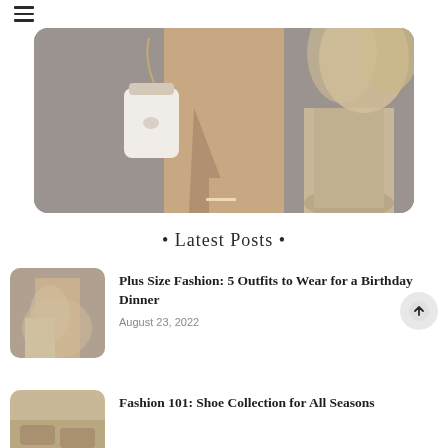≡
[Figure (photo): Fashion photo showing a person wearing a beige/nude satin midi dress with a slit, holding a white chain-strap bag, next to a vase with pampas grass against a gray concrete wall]
• Latest Posts •
[Figure (photo): Thumbnail image showing a person in a beige ruched mini dress with pampas grass]
Plus Size Fashion: 5 Outfits to Wear for a Birthday Dinner
August 23, 2022
[Figure (photo): Thumbnail image showing shoes/sandals in a tan/neutral setting]
Fashion 101: Shoe Collection for All Seasons